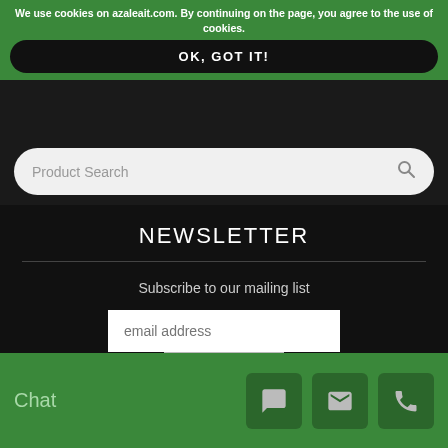We use cookies on azaleait.com. By continuing on the page, you agree to the use of cookies.
OK, GOT IT!
Product Search
NEWSLETTER
Subscribe to our mailing list
email address
Subscribe
Unsubscribe from newsletter
© 2022 Azalea IT
Första Långgatan 30A 413 27 Göteborg
Chat